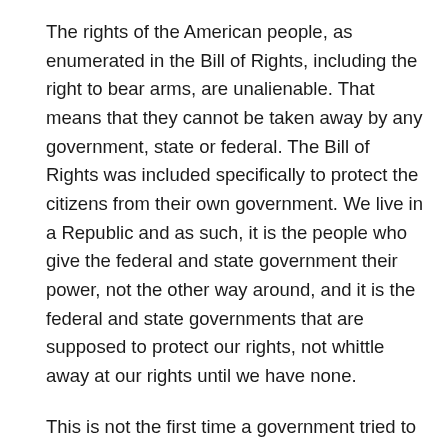The rights of the American people, as enumerated in the Bill of Rights, including the right to bear arms, are unalienable. That means that they cannot be taken away by any government, state or federal. The Bill of Rights was included specifically to protect the citizens from their own government. We live in a Republic and as such, it is the people who give the federal and state government their power, not the other way around, and it is the federal and state governments that are supposed to protect our rights, not whittle away at our rights until we have none.
This is not the first time a government tried to take our guns. Back in April 19, 1775, British Troops tried to take weapons from the Massachusetts militiamen and were met with armed resistance by the people. In the years that followed, our Founders made their